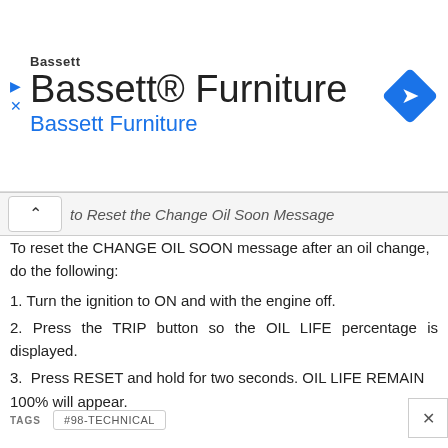[Figure (screenshot): Bassett Furniture advertisement banner with logo, title text 'Bassett® Furniture', subtitle 'Bassett Furniture' in blue, and a blue diamond direction icon on the right.]
to Reset the Change Oil Soon Message
To reset the CHANGE OIL SOON message after an oil change, do the following:
1. Turn the ignition to ON and with the engine off.
2. Press the TRIP button so the OIL LIFE percentage is displayed.
3. Press RESET and hold for two seconds. OIL LIFE REMAIN 100% will appear.
TAGS  #98-TECHNICAL